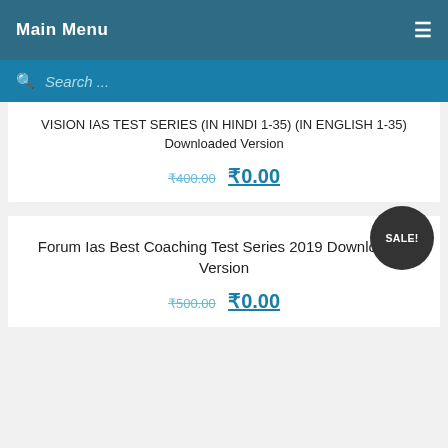Main Menu
Search ...
VISION IAS TEST SERIES (IN HINDI 1-35) (IN ENGLISH 1-35) Downloaded Version
₹400.00  ₹0.00
Forum Ias Best Coaching Test Series 2019 Downloaded Version
₹500.00  ₹0.00